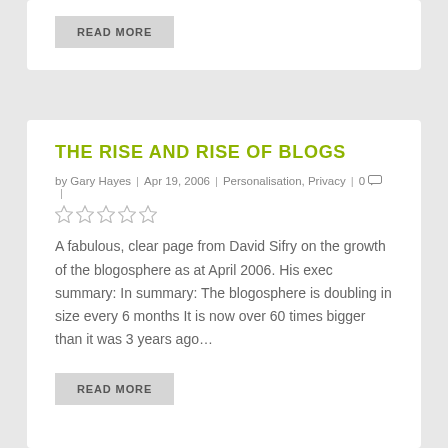READ MORE
THE RISE AND RISE OF BLOGS
by Gary Hayes | Apr 19, 2006 | Personalisation, Privacy | 0 |
A fabulous, clear page from David Sifry on the growth of the blogosphere as at April 2006. His exec summary: In summary: The blogosphere is doubling in size every 6 months It is now over 60 times bigger than it was 3 years ago…
READ MORE